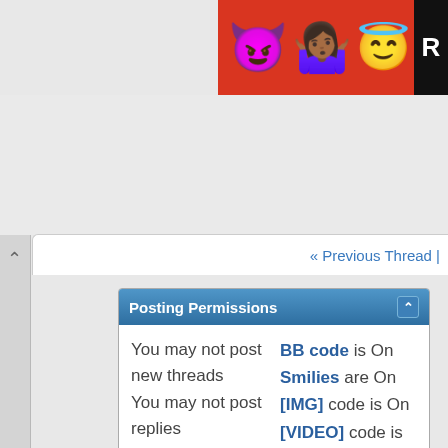[Figure (illustration): Advertisement banner with emoji characters (devil, woman, halo smiley) on a red background with a black 'R' letter on the right edge]
« Previous Thread |
Posting Permissions
You may not post new threads
You may not post replies
You may not post attachments
You may not edit your posts
BB code is On
Smilies are On
[IMG] code is On
[VIDEO] code is On
HTML code is Off
Forum Rules